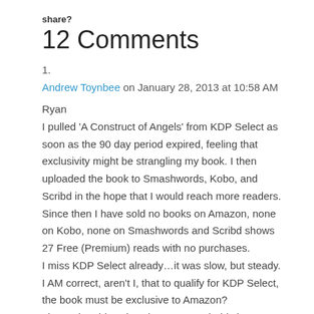share?
12 Comments
1.
Andrew Toynbee on January 28, 2013 at 10:58 AM
Ryan
I pulled ‘A Construct of Angels’ from KDP Select as soon as the 90 day period expired, feeling that exclusivity might be strangling my book. I then uploaded the book to Smashwords, Kobo, and Scribd in the hope that I would reach more readers.
Since then I have sold no books on Amazon, none on Kobo, none on Smashwords and Scribd shows 27 Free (Premium) reads with no purchases.
I miss KDP Select already…it was slow, but steady.
I AM correct, aren’t I, that to qualify for KDP Select, the book must be exclusive to Amazon?
I know that this sales slump can probably be put